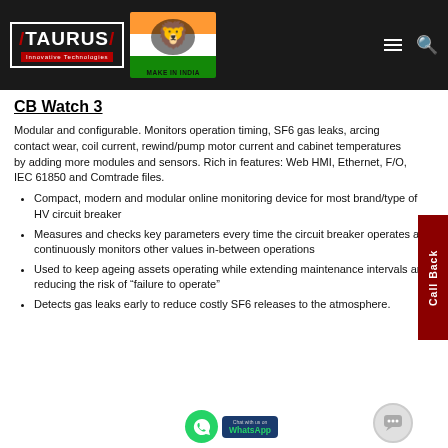Taurus Innovative Technologies — Make in India
CB Watch 3
Modular and configurable. Monitors operation timing, SF6 gas leaks, arcing contact wear, coil current, rewind/pump motor current and cabinet temperatures by adding more modules and sensors. Rich in features: Web HMI, Ethernet, F/O, IEC 61850 and Comtrade files.
Compact, modern and modular online monitoring device for most brand/type of HV circuit breaker
Measures and checks key parameters every time the circuit breaker operates and continuously monitors other values in-between operations
Used to keep ageing assets operating while extending maintenance intervals and reducing the risk of “failure to operate”
Detects gas leaks early to reduce costly SF6 releases to the atmosphere.